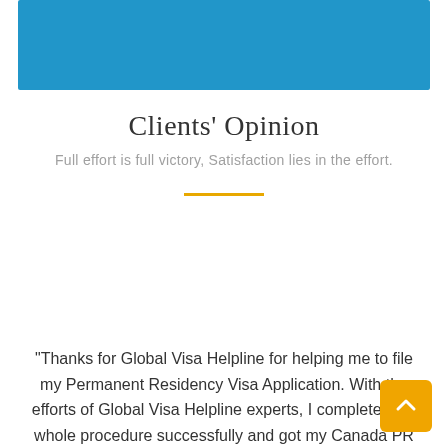[Figure (other): Blue banner/header image at the top of the page]
Clients' Opinion
Full effort is full victory, Satisfaction lies in the effort.
"Thanks for Global Visa Helpline for helping me to file my Permanent Residency Visa Application. With the efforts of Global Visa Helpline experts, I completed my whole procedure successfully and got my Canada PR